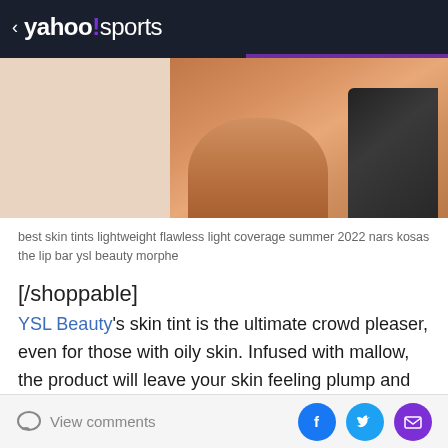< yahoo!sports
[Figure (photo): Close-up photo of a person's neck and shoulder area with a chain necklace and black top, used to illustrate a beauty/skin tint article]
best skin tints lightweight flawless light coverage summer 2022 nars kosas the lip bar ysl beauty morphe
[/shoppable]
YSL Beauty's skin tint is the ultimate crowd pleaser, even for those with oily skin. Infused with mallow, the product will leave your skin feeling plump and bright. The formula offers buildable coverage, allowing you to wear it alone, or to layer it with other complexion products for a seamless finish.
View comments